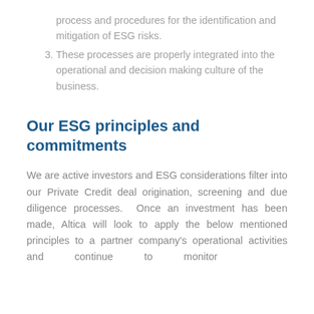process and procedures for the identification and mitigation of ESG risks.
3. These processes are properly integrated into the operational and decision making culture of the business.
Our ESG principles and commitments
We are active investors and ESG considerations filter into our Private Credit deal origination, screening and due diligence processes. Once an investment has been made, Altica will look to apply the below mentioned principles to a partner company's operational activities and continue to monitor